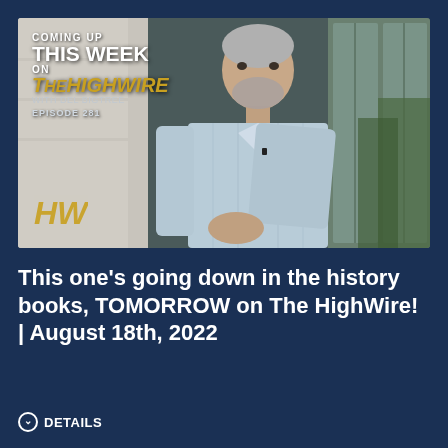[Figure (screenshot): Video thumbnail showing a man in a plaid shirt standing outdoors. Overlay text reads: COMING UP THIS WEEK ON THE HIGHWIRE (logo) EPISODE 281. HW logo in bottom left corner.]
This one's going down in the history books, TOMORROW on The HighWire! | August 18th, 2022
DETAILS